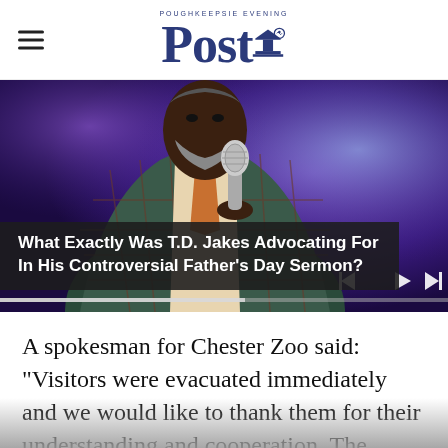Poughkeepsie Evening Post
[Figure (photo): A man in a plaid suit jacket holding a microphone, speaking on stage with purple stage lighting. Video player overlay with playback controls and progress bar. Caption overlay reads: 'What Exactly Was T.D. Jakes Advocating For In His Controversial Father's Day Sermon?']
What Exactly Was T.D. Jakes Advocating For In His Controversial Father's Day Sermon?
A spokesman for Chester Zoo said: "Visitors were evacuated immediately and we would like to thank them for their understanding and cooperation. The facilities and staff are..."